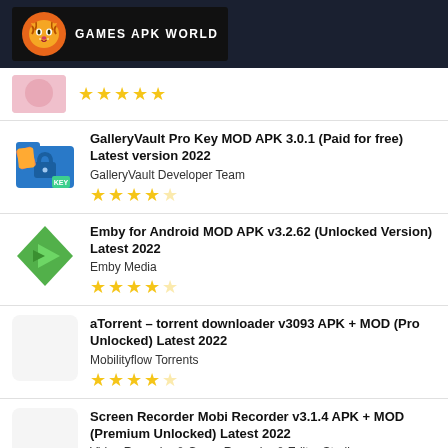GAMES APK WORLD
★★★★★ (5 stars)
GalleryVault Pro Key MOD APK 3.0.1 (Paid for free) Latest version 2022 — GalleryVault Developer Team — ★★★★☆ (4.5 stars)
Emby for Android MOD APK v3.2.62 (Unlocked Version) Latest 2022 — Emby Media — ★★★★☆ (4 stars)
aTorrent – torrent downloader v3093 APK + MOD (Pro Unlocked) Latest 2022 — Mobilityflow Torrents — ★★★★☆ (4 stars)
Screen Recorder Mobi Recorder v3.1.4 APK + MOD (Premium Unlocked) Latest 2022 — Video Recorder & Game Recorder & Editor Studio